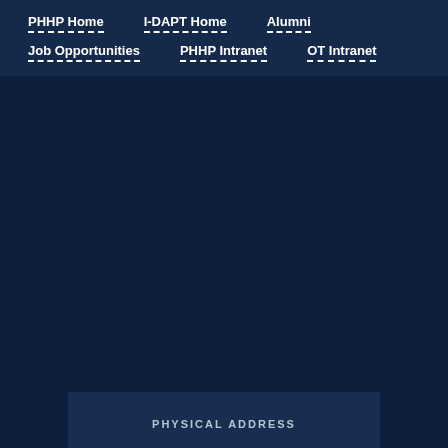PHHP Home | I-DAPT Home | Alumni | Job Opportunities | PHHP Intranet | OT Intranet
PHYSICAL ADDRESS